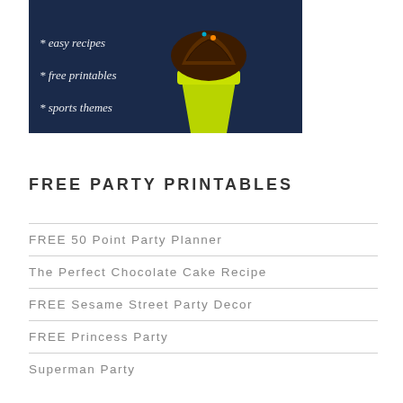[Figure (photo): Photo of a chocolate cupcake with yellow-green wrapper on a dark blue background with white script text listing: easy recipes, free printables, sports themes]
FREE PARTY PRINTABLES
FREE 50 Point Party Planner
The Perfect Chocolate Cake Recipe
FREE Sesame Street Party Decor
FREE Princess Party
Superman Party